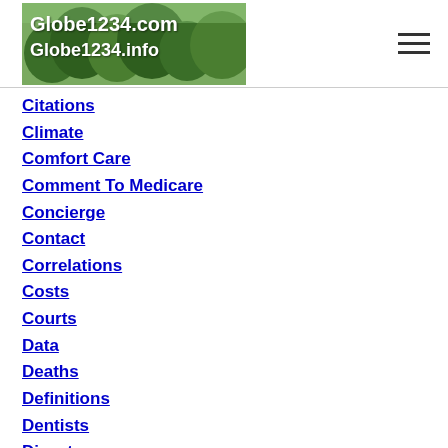[Figure (logo): Globe1234.com / Globe1234.info logo with green forest background image]
Citations
Climate
Comfort Care
Comment To Medicare
Concierge
Contact
Correlations
Costs
Courts
Data
Deaths
Definitions
Dentists
Disaster
Doctors
Do Not Resuscitate